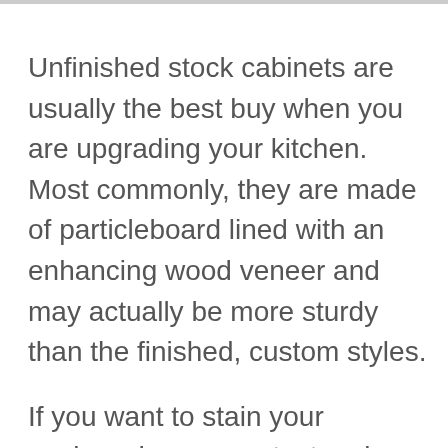Unfinished stock cabinets are usually the best buy when you are upgrading your kitchen. Most commonly, they are made of particleboard lined with an enhancing wood veneer and may actually be more sturdy than the finished, custom styles.
If you want to stain your cupboards you can test various stain colors to get what you want on the backside of them that will be against the wall when installed. Use at least two coats or more to get the true color. Sand your cabinets with very fine-grit sandpaper, such as 150 to get them satin